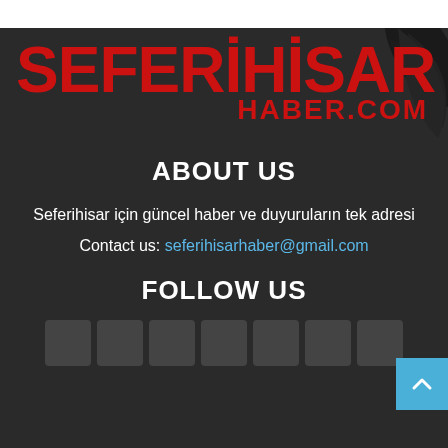[Figure (logo): SEFERİHİSAR HABER.COM logo in red bold text with a dark swirl/feather graphic on the right on a dark background]
ABOUT US
Seferihisar için güncel haber ve duyuruların tek adresi
Contact us: seferihisarhaber@gmail.com
FOLLOW US
[Figure (illustration): Row of social media icon buttons (grey/dark square icons) at the bottom of the page]